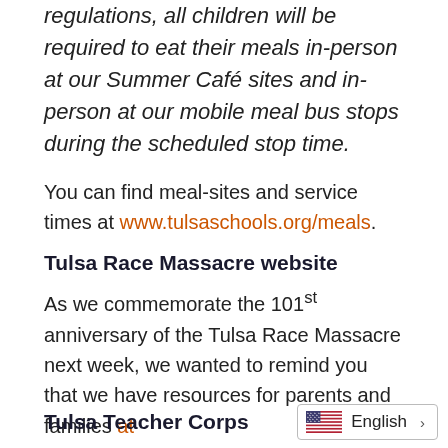regulations, all children will be required to eat their meals in-person at our Summer Café sites and in-person at our mobile meal bus stops during the scheduled stop time.
You can find meal-sites and service times at www.tulsaschools.org/meals.
Tulsa Race Massacre website
As we commemorate the 101st anniversary of the Tulsa Race Massacre next week, we wanted to remind you that we have resources for parents and families at www.tulsaschools.org/TulsaRaceMassacre to learn more about the Tulsa Race Massacre.
Tulsa Teacher Corps
English >